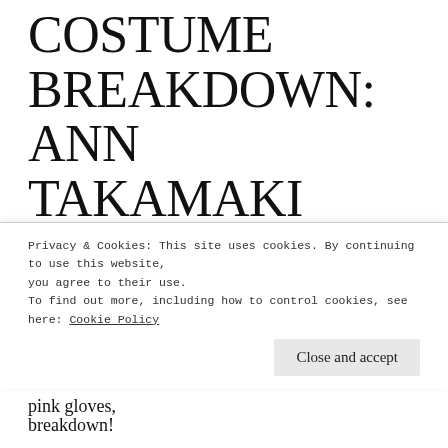COSTUME BREAKDOWN: ANN TAKAMAKI (PANTHER)
NOVEMBER 22, 2017   TERMINA COSPLAY   6 COMMENTS
In Persona 5, Ann Takamaki's Panther outfit consists of a shiny red bodysuit, dark red thigh high boots, pink gloves,
Privacy & Cookies: This site uses cookies. By continuing to use this website, you agree to their use.
To find out more, including how to control cookies, see here: Cookie Policy
Close and accept
breakdown!